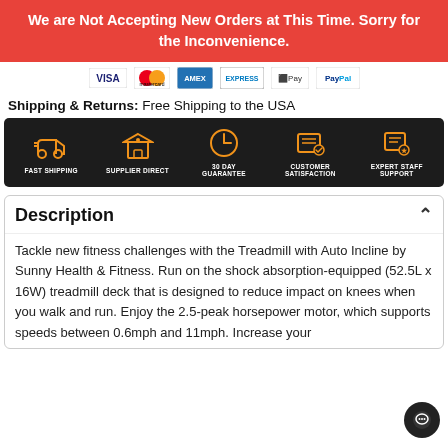We are Not Accepting New Orders at This Time. Sorry for the Inconvenience.
[Figure (other): Payment method logos: Visa, Mastercard, American Express, Apple Pay, PayPal]
Shipping & Returns: Free Shipping to the USA
[Figure (infographic): Dark banner with 5 orange icons and labels: FAST SHIPPING, SUPPLIER DIRECT, 30 DAY GUARANTEE, CUSTOMER SATISFACTION, EXPERT STAFF SUPPORT]
Description
Tackle new fitness challenges with the Treadmill with Auto Incline by Sunny Health & Fitness. Run on the shock absorption-equipped (52.5L x 16W) treadmill deck that is designed to reduce impact on knees when you walk and run. Enjoy the 2.5-peak horsepower motor, which supports speeds between 0.6mph and 11mph. Increase your